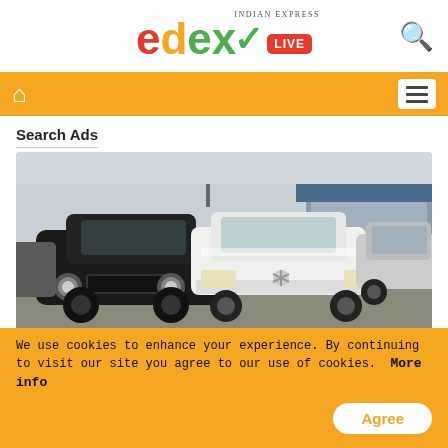edex LIVE - Indian Express
[Figure (logo): edexLIVE logo with Indian Express branding and search icon]
[Figure (other): Orange navigation bar with home icon and hamburger menu]
Search Ads
[Figure (photo): Used cars lot showing a black Bentley, white Mercedes, and other luxury cars parked in a dealership yard]
Used Cars In United States Might
We use cookies to enhance your experience. By continuing to visit our site you agree to our use of cookies. More info
Agree